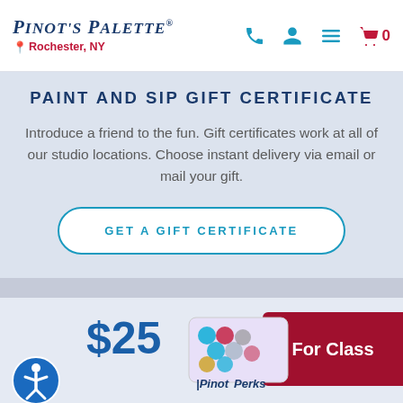Pinot's Palette — Rochester, NY
PAINT AND SIP GIFT CERTIFICATE
Introduce a friend to the fun. Gift certificates work at all of our studio locations. Choose instant delivery via email or mail your gift.
GET A GIFT CERTIFICATE
[Figure (illustration): PinotPerks gift card with colorful paint palette dots, partially overlapping a dark red 'For Class' button]
$25
For Class